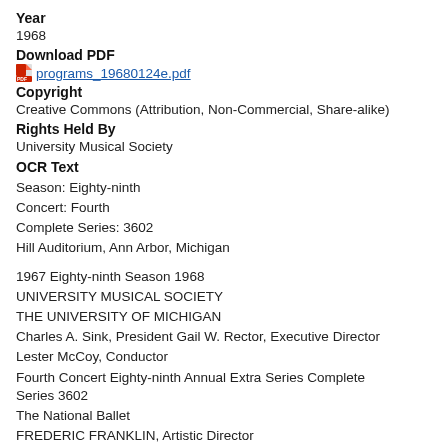Year
1968
Download PDF
programs_19680124e.pdf
Copyright
Creative Commons (Attribution, Non-Commercial, Share-alike)
Rights Held By
University Musical Society
OCR Text
Season: Eighty-ninth
Concert: Fourth
Complete Series: 3602
Hill Auditorium, Ann Arbor, Michigan
1967 Eighty-ninth Season 1968
UNIVERSITY MUSICAL SOCIETY
THE UNIVERSITY OF MICHIGAN
Charles A. Sink, President Gail W. Rector, Executive Director
Lester McCoy, Conductor
Fourth Concert Eighty-ninth Annual Extra Series Complete Series 3602
The National Ballet
FREDERIC FRANKLIN, Artistic Director
Wednesday Evening, January 24,1968, at 8:30 Hill Auditorium,